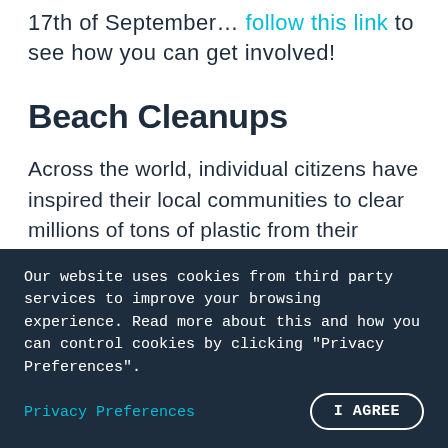17th of September… follow this link to see how you can get involved!
Beach Cleanups
Across the world, individual citizens have inspired their local communities to clear millions of tons of plastic from their beaches and oceans. From India to the UK, the impact of this seemingly impossible task has proved that one person really can
Our website uses cookies from third party services to improve your browsing experience. Read more about this and how you can control cookies by clicking "Privacy Preferences".
Privacy Preferences
I AGREE